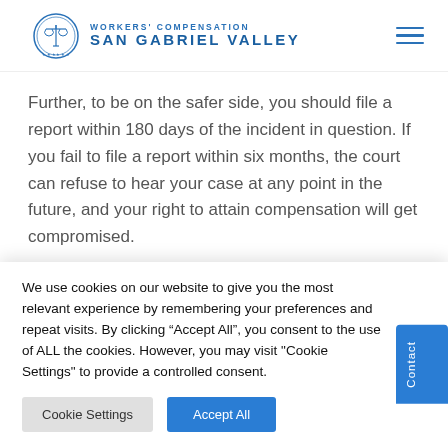[Figure (logo): Workers' Compensation San Gabriel Valley logo with scales of justice emblem in circle and blue text]
Further, to be on the safer side, you should file a report within 180 days of the incident in question. If you fail to file a report within six months, the court can refuse to hear your case at any point in the future, and your right to attain compensation will get compromised.
We use cookies on our website to give you the most relevant experience by remembering your preferences and repeat visits. By clicking "Accept All", you consent to the use of ALL the cookies. However, you may visit "Cookie Settings" to provide a controlled consent.